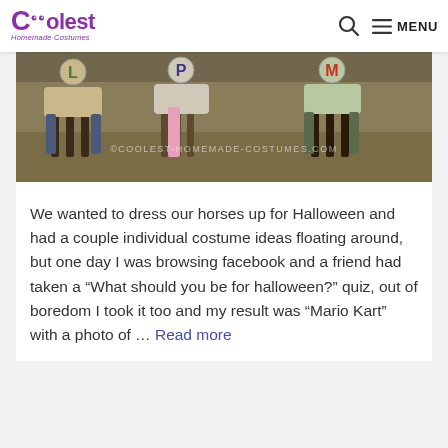Coolest Homemade Costumes [logo] [search icon] MENU
[Figure (photo): Photo of horses dressed in Mario Kart costumes with riders standing beside them, showing legs and lower bodies of humans and horses with Mario-themed blankets/signs. Watermark reads coolest-homemade-costumes.com]
We wanted to dress our horses up for Halloween and had a couple individual costume ideas floating around, but one day I was browsing facebook and a friend had taken a “What should you be for halloween?” quiz, out of boredom I took it too and my result was “Mario Kart” with a photo of … Read more